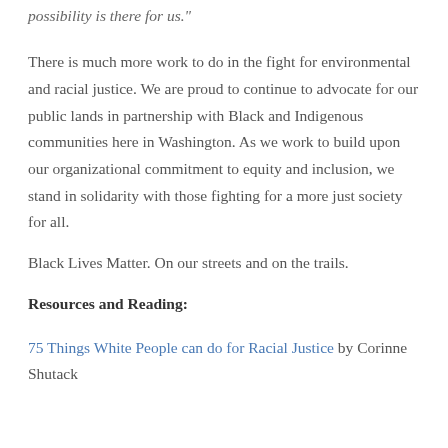possibility is there for us."
There is much more work to do in the fight for environmental and racial justice. We are proud to continue to advocate for our public lands in partnership with Black and Indigenous communities here in Washington. As we work to build upon our organizational commitment to equity and inclusion, we stand in solidarity with those fighting for a more just society for all.
Black Lives Matter. On our streets and on the trails.
Resources and Reading:
75 Things White People can do for Racial Justice by Corinne Shutack